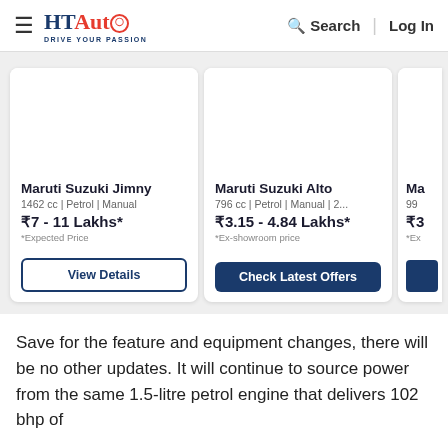HT Auto - Drive Your Passion | Search | Log In
[Figure (screenshot): Maruti Suzuki Jimny car listing card: 1462 cc | Petrol | Manual, ₹7 - 11 Lakhs*, *Expected Price, View Details button]
[Figure (screenshot): Maruti Suzuki Alto car listing card: 796 cc | Petrol | Manual | 2..., ₹3.15 - 4.84 Lakhs*, *Ex-showroom price, Check Latest Offers button]
[Figure (screenshot): Partial third car listing card (Ma..., 99..., ₹3..., *Ex...) partially visible on right edge]
Save for the feature and equipment changes, there will be no other updates. It will continue to source power from the same 1.5-litre petrol engine that delivers 102 bhp of